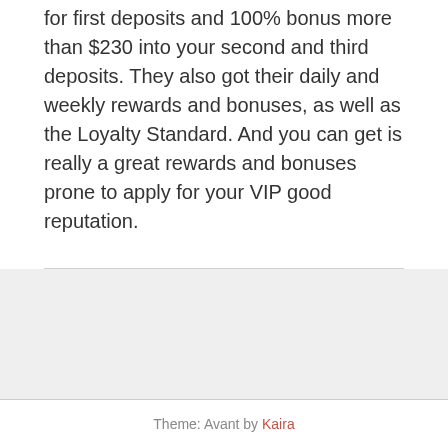for first deposits and 100% bonus more than $230 into your second and third deposits. They also got their daily and weekly rewards and bonuses, as well as the Loyalty Standard. And you can get is really a great rewards and bonuses prone to apply for your VIP good reputation.
Theme: Avant by Kaira